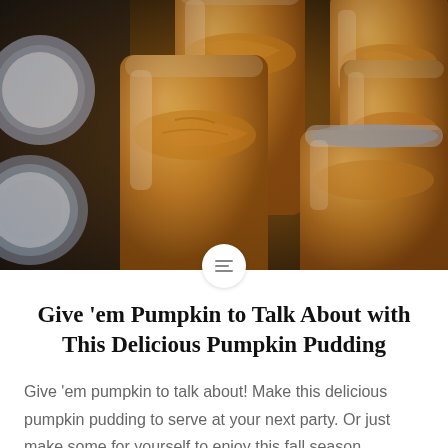[Figure (photo): Multiple open glass mason jars filled with orange pumpkin pudding, viewed from above at a slight angle, dark background with lid rings visible on the left side]
Give ’em Pumpkin to Talk About with This Delicious Pumpkin Pudding
Give ’em pumpkin to talk about! Make this delicious pumpkin pudding to serve at your next party. Or just make some for yourself to enjoy this fall season.